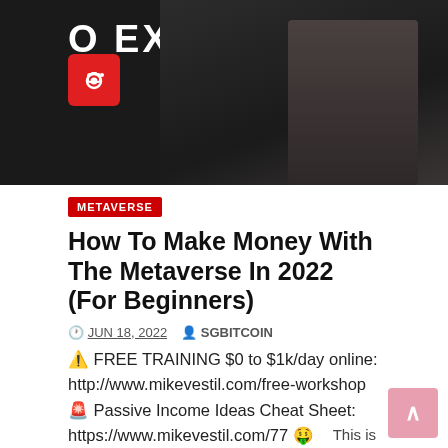[Figure (photo): Banner image with large text 'O EXPERIENCE', a red camera badge icon, microphone, and person with arms crossed on dark background]
METAVERSE
How To Make Money With The Metaverse In 2022 (For Beginners)
JUN 18, 2022  SGBITCOIN
⚠️ FREE TRAINING $0 to $1k/day online: http://www.mikevestil.com/free-workshop 🚨 Passive Income Ideas Cheat Sheet: https://www.mikevestil.com/77 🤑 Millionaire Interviews: https://youtube.com/mikevestil 💰 My blog: https://www.mikevestil.com/
This is